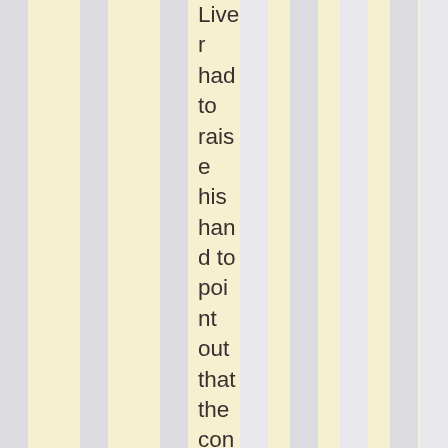Liver had to raise his hand to point out that the conservative party, the American Constitution Part